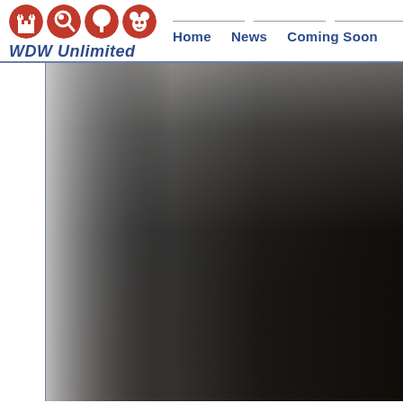WDW Unlimited — Home | News | Coming Soon
[Figure (photo): Blurred dark photograph, mostly black with lighter gray gradient on the left side, main content area of a website page for WDW Unlimited]